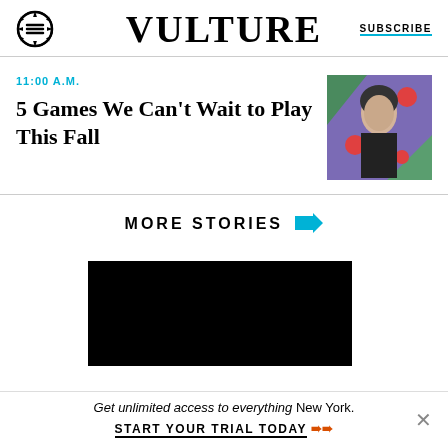VULTURE | SUBSCRIBE
11:00 A.M.
5 Games We Can't Wait to Play This Fall
[Figure (photo): Photo of a woman against a colorful illustrated background with geometric shapes and red dots]
MORE STORIES ➜
[Figure (screenshot): Black advertisement box]
Get unlimited access to everything New York. START YOUR TRIAL TODAY ➜➜